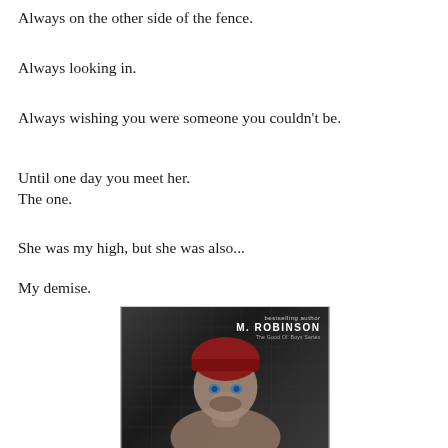Always on the other side of the fence.
Always looking in.
Always wishing you were someone you couldn't be.
Until one day you meet her.
The one.
She was my high, but she was also...
My demise.
[Figure (photo): Book cover showing a man wearing a dark red beanie hat with striking blue eyes, shirtless, against a dark industrial background. Text reads: 'bestselling author M. ROBINSON The Good Ol' Boys Series']